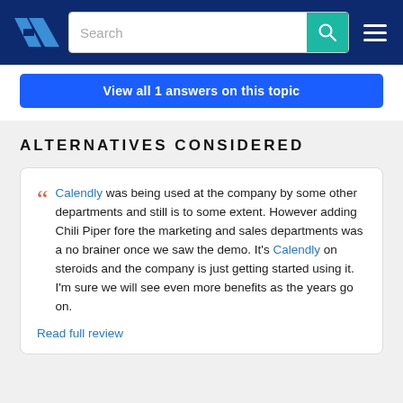TrustRadius navigation bar with logo, search field, and menu
View all 1 answers on this topic
ALTERNATIVES CONSIDERED
Calendly was being used at the company by some other departments and still is to some extent. However adding Chili Piper fore the marketing and sales departments was a no brainer once we saw the demo. It's Calendly on steroids and the company is just getting started using it. I'm sure we will see even more benefits as the years go on.
Read full review